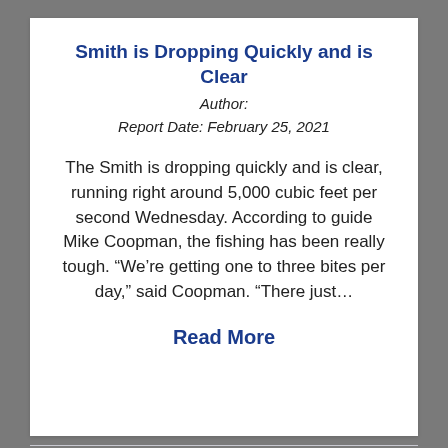Smith is Dropping Quickly and is Clear
Author:
Report Date: February 25, 2021
The Smith is dropping quickly and is clear, running right around 5,000 cubic feet per second Wednesday. According to guide Mike Coopman, the fishing has been really tough. “We’re getting one to three bites per day,” said Coopman. “There just…
Read More